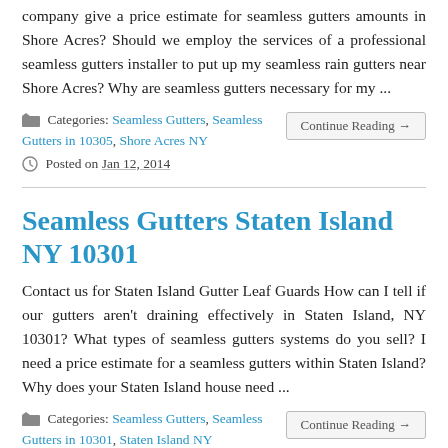company give a price estimate for seamless gutters amounts in Shore Acres? Should we employ the services of a professional seamless gutters installer to put up my seamless rain gutters near Shore Acres? Why are seamless gutters necessary for my ...
Categories: Seamless Gutters, Seamless Gutters in 10305, Shore Acres NY
Posted on Jan 12, 2014
Seamless Gutters Staten Island NY 10301
Contact us for Staten Island Gutter Leaf Guards How can I tell if our gutters aren't draining effectively in Staten Island, NY 10301? What types of seamless gutters systems do you sell? I need a price estimate for a seamless gutters within Staten Island? Why does your Staten Island house need ...
Categories: Seamless Gutters, Seamless Gutters in 10301, Staten Island NY
Posted on Jan 7, 2014